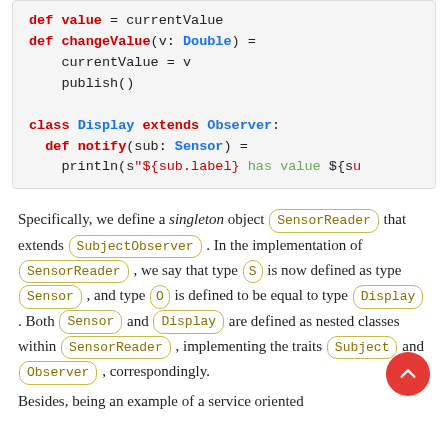[Figure (screenshot): Code block showing Scala code with class Display extends Observer and def notify method with println statement]
Specifically, we define a singleton object SensorReader that extends SubjectObserver. In the implementation of SensorReader, we say that type S is now defined as type Sensor, and type O is defined to be equal to type Display. Both Sensor and Display are defined as nested classes within SensorReader, implementing the traits Subject and Observer, correspondingly.
Besides, being an example of a service oriented